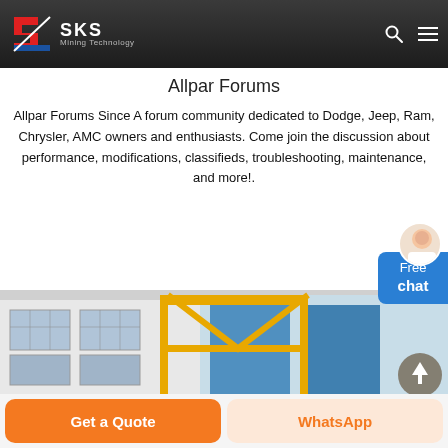SKS Mining Technology
Allpar Forums
Allpar Forums Since A forum community dedicated to Dodge, Jeep, Ram, Chrysler, AMC owners and enthusiasts. Come join the discussion about performance, modifications, classifieds, troubleshooting, maintenance, and more!.
[Figure (photo): Industrial/mining equipment with yellow steel frame structure in front of a factory building with blue doors and large windows]
Get a Quote
WhatsApp